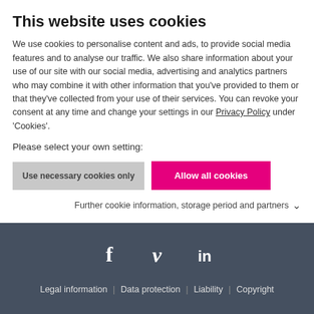This website uses cookies
We use cookies to personalise content and ads, to provide social media features and to analyse our traffic. We also share information about your use of our site with our social media, advertising and analytics partners who may combine it with other information that you've provided to them or that they've collected from your use of their services. You can revoke your consent at any time and change your settings in our Privacy Policy under 'Cookies'.
Please select your own setting:
Use necessary cookies only
Allow all cookies
Further cookie information, storage period and partners
[Figure (illustration): Social media icons for Facebook (f), Vimeo (v), and LinkedIn (in) in white on dark background]
Legal information | Data protection | Liability | Copyright